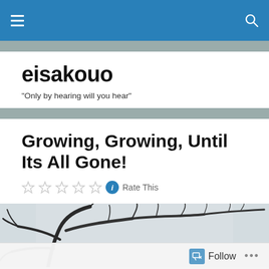eisakouo navigation bar
eisakouo
"Only by hearing will you hear"
Growing, Growing, Until Its All Gone!
Rate This
[Figure (photo): Black and white photo of bare tree branches against a light sky]
Follow ...